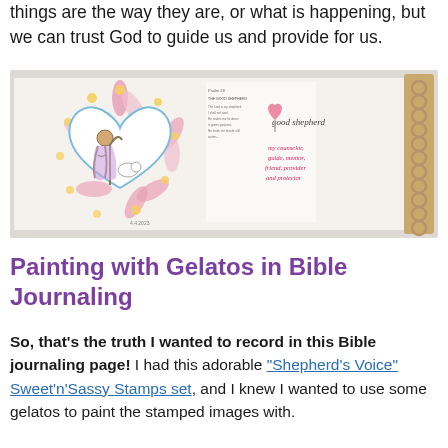things are the way they are, or what is happening, but we can trust God to guide us and provide for us.
[Figure (photo): A Bible journaling spread open on a spiral-bound journal. The page features a heart-shaped illustration of a shepherd, decorative floral designs in pink and yellow, handwritten text including 'good shepherd' and 'my counselor, guide, mentor, friend, provider and protector', and printed Bible verses.]
Painting with Gelatos in Bible Journaling
So, that's the truth I wanted to record in this Bible journaling page! I had this adorable "Shepherd's Voice" Sweet'n'Sassy Stamps set, and I knew I wanted to use some gelatos to paint the stamped images with.